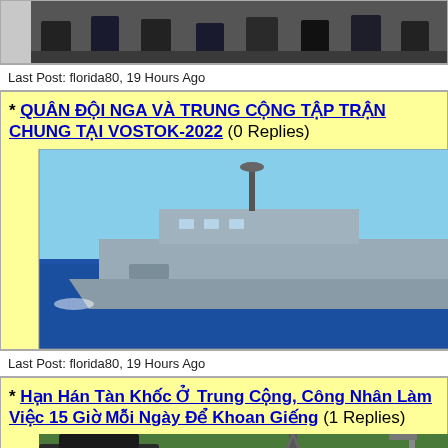[Figure (photo): Top portion of a photo showing people standing, partially cut off at top]
Last Post: florida80, 19 Hours Ago
* QUÂN ĐỘI NGA VÀ TRUNG CỘNG TẬP TRẬN CHUNG TẠI VOSTOK-2022 (0 Replies)
[Figure (photo): A naval warship sailing on blue ocean water]
Last Post: florida80, 19 Hours Ago
* Hạn Hán Tàn Khốc Ở Trung Cộng, Công Nhân Làm Việc 15 Giờ Mỗi Ngày Để Khoan Giếng (1 Replies)
[Figure (photo): Industrial drilling equipment in a field]